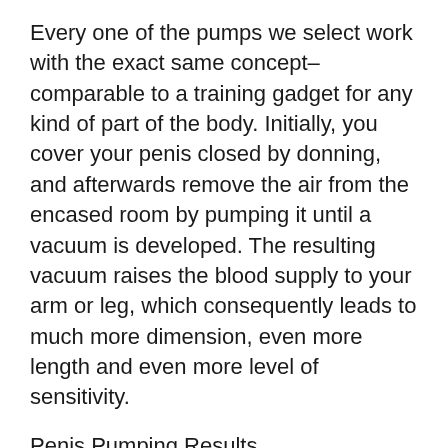Every one of the pumps we select work with the exact same concept– comparable to a training gadget for any kind of part of the body. Initially, you cover your penis closed by donning, and afterwards remove the air from the encased room by pumping it until a vacuum is developed. The resulting vacuum raises the blood supply to your arm or leg, which consequently leads to much more dimension, even more length and even more level of sensitivity.
Penis Pumping Results
In-depth information on the products used as well as the unique functions of the specific penis pumps can be discovered in the corresponding product summaries.